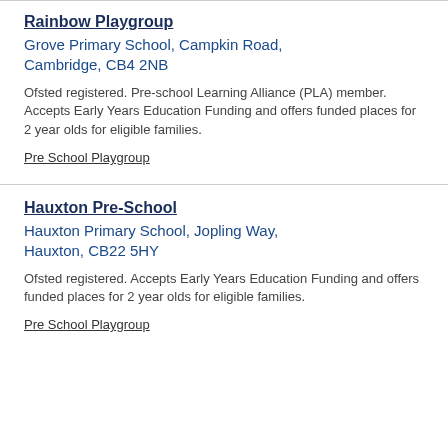Rainbow Playgroup
Grove Primary School, Campkin Road, Cambridge, CB4 2NB
Ofsted registered. Pre-school Learning Alliance (PLA) member. Accepts Early Years Education Funding and offers funded places for 2 year olds for eligible families.
Pre School Playgroup
Hauxton Pre-School
Hauxton Primary School, Jopling Way, Hauxton, CB22 5HY
Ofsted registered. Accepts Early Years Education Funding and offers funded places for 2 year olds for eligible families.
Pre School Playgroup